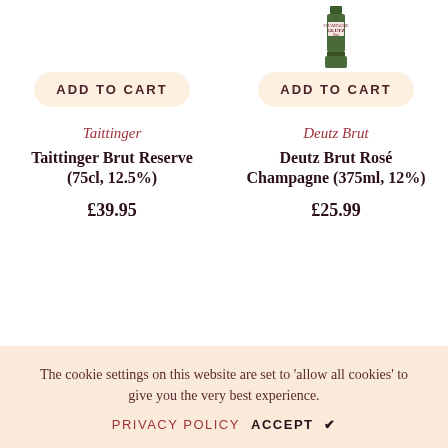[Figure (photo): Partial top of a champagne bottle (Deutz) visible at top right]
ADD TO CART
ADD TO CART
Taittinger
Deutz Brut
Taittinger Brut Reserve (75cl, 12.5%)
Deutz Brut Rosé Champagne (375ml, 12%)
£39.95
£25.99
The cookie settings on this website are set to 'allow all cookies' to give you the very best experience.
PRIVACY POLICY   ACCEPT ✔